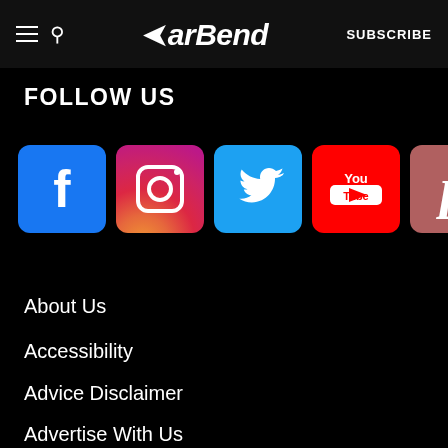BarBend — SUBSCRIBE
FOLLOW US
[Figure (illustration): Row of social media icons: Facebook (blue), Instagram (gradient), Twitter (blue), YouTube (red), Pinterest (red/brown)]
About Us
Accessibility
Advice Disclaimer
Advertise With Us
Contact Us